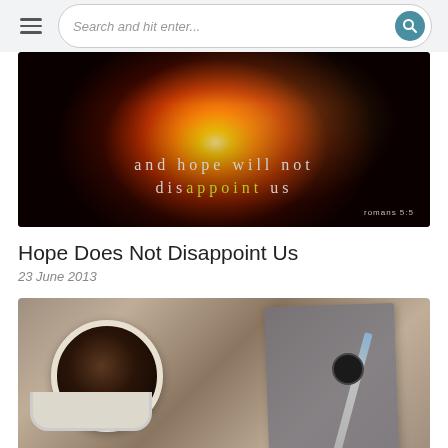Search and hit enter...
[Figure (photo): Dark atmospheric image with silhouette of a person/tree against a glowing sunset sky, with text overlay: 'and hope will not disappoint us' and reference 'romans 5:5']
Hope Does Not Disappoint Us
23 June 2013
[Figure (photo): Top-down view of a coffee cup and a grey notebook/journal with a pen on a wooden table surface]